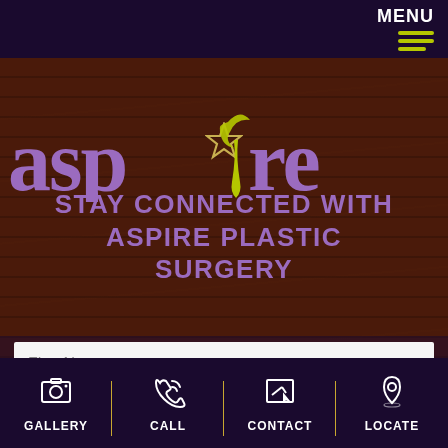MENU
[Figure (logo): Aspire Plastic Surgery logo with star icon and stylized figure, purple text reading 'aspire']
STAY CONNECTED WITH ASPIRE PLASTIC SURGERY
First Name
Last Name
GALLERY | CALL | CONTACT | LOCATE